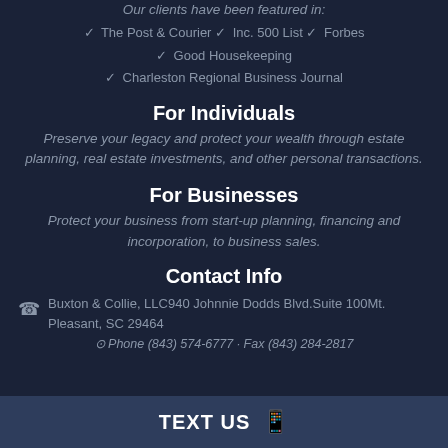Our clients have been featured in:
✓ The Post & Courier ✓ Inc. 500 List ✓ Forbes
✓ Good Housekeeping
✓ Charleston Regional Business Journal
For Individuals
Preserve your legacy and protect your wealth through estate planning, real estate investments, and other personal transactions.
For Businesses
Protect your business from start-up planning, financing and incorporation, to business sales.
Contact Info
Buxton & Collie, LLC940 Johnnie Dodds Blvd.Suite 100Mt. Pleasant, SC 29464
Phone (843) 574-6777 · Fax (843) 284-2817
TEXT US